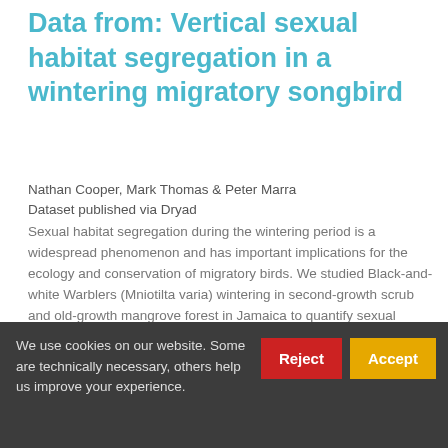Data from: Vertical sexual habitat segregation in a wintering migratory songbird
Nathan Cooper, Mark Thomas & Peter Marra
Dataset published via Dryad
Sexual habitat segregation during the wintering period is a widespread phenomenon and has important implications for the ecology and conservation of migratory birds. We studied Black-and-white Warblers (Mniotilta varia) wintering in second-growth scrub and old-growth mangrove forest in Jamaica to quantify sexual habitat segregation and explore whether patterns of habitat
About DataCite
What we do
Governance
We use cookies on our website. Some are technically necessary, others help us improve your experience.